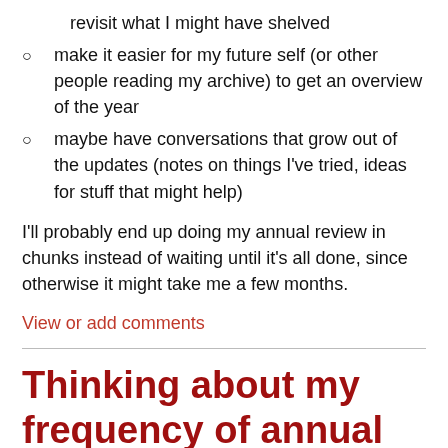revisit what I might have shelved
make it easier for my future self (or other people reading my archive) to get an overview of the year
maybe have conversations that grow out of the updates (notes on things I've tried, ideas for stuff that might help)
I'll probably end up doing my annual review in chunks instead of waiting until it's all done, since otherwise it might take me a few months.
View or add comments
Thinking about my frequency of annual reviews
Posted: Jan 11, 2017 - Modified: Jan 9, 2017| blogging